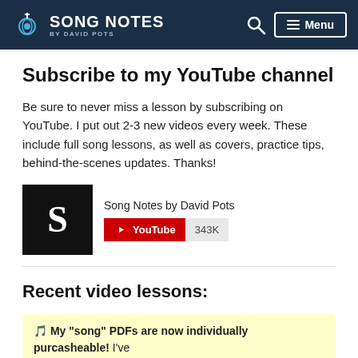Song Notes by David Pots — Menu
Subscribe to my YouTube channel
Be sure to never miss a lesson by subscribing on YouTube. I put out 2-3 new videos every week. These include full song lessons, as well as covers, practice tips, behind-the-scenes updates. Thanks!
[Figure (other): YouTube channel widget showing Song Notes by David Pots channel logo (black square with white S), channel name, and YouTube subscribe button with 343K subscribers]
Recent video lessons:
🎵 My "song" PDFs are now individually purcasheable! I've